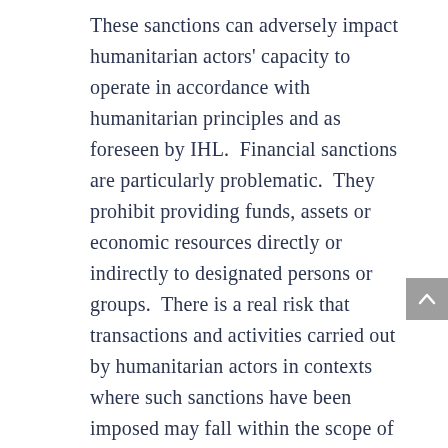These sanctions can adversely impact humanitarian actors' capacity to operate in accordance with humanitarian principles and as foreseen by IHL.  Financial sanctions are particularly problematic.  They prohibit providing funds, assets or economic resources directly or indirectly to designated persons or groups.  There is a real risk that transactions and activities carried out by humanitarian actors in contexts where such sanctions have been imposed may fall within the scope of the restrictions.  These can include incidental payments that humanitarian actors may have to make to designated groups as part of their operations; or relief consignments